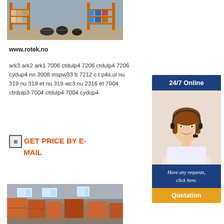[Figure (photo): Warehouse shelving with boxes and equipment]
www.rotek.no
ark3 ark2 ark1 7006 ctdulp4 7206 ctdulp4 7206 cydup4 nn 3008 mspw33 b 7212 c.t.p4s.ul nu 319 nu 319 et nu 319 wc3 nu 2316 et 7004 ctrdulp3 7004 ctdulp4 7004 cydup4
GET PRICE BY E-MAIL
[Figure (infographic): 24/7 Online banner with customer service agent photo, 'Have any requests, click here.' text and Quotation button]
[Figure (photo): Interior of warehouse with stacked goods and windows]